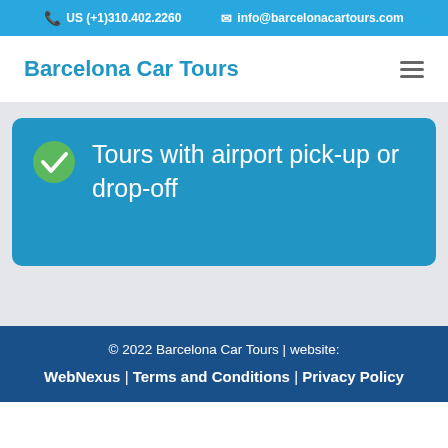US (+1)310.402.2260 | info@barcelonacartours.com
Barcelona Car Tours
Tours with airport pick-up or drop-off
© 2022 Barcelona Car Tours | website: WebNexus | Terms and Conditions | Privacy Policy